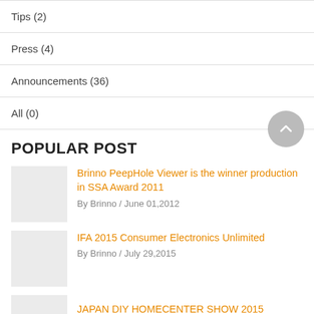Tips (2)
Press (4)
Announcements (36)
All (0)
POPULAR POST
Brinno PeepHole Viewer is the winner production in SSA Award 2011
By Brinno / June 01,2012
IFA 2015 Consumer Electronics Unlimited
By Brinno / July 29,2015
JAPAN DIY HOMECENTER SHOW 2015